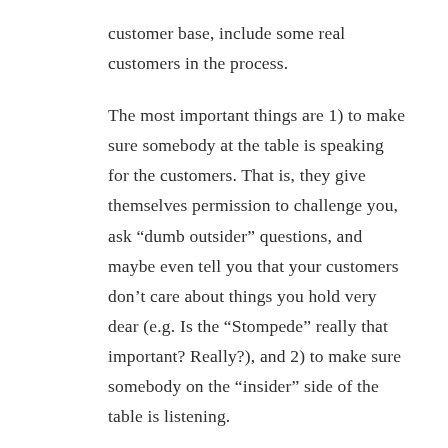customer base, include some real customers in the process.

The most important things are 1) to make sure somebody at the table is speaking for the customers. That is, they give themselves permission to challenge you, ask “dumb outsider” questions, and maybe even tell you that your customers don’t care about things you hold very dear (e.g. Is the “Stompede” really that important? Really?), and 2) to make sure somebody on the “insider” side of the table is listening.